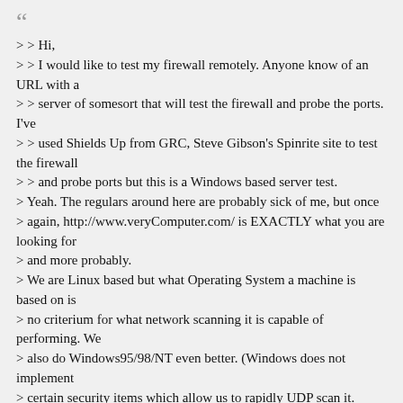““
> > Hi,
> > I would like to test my firewall remotely. Anyone know of an URL with a
> > server of somesort that will test the firewall and probe the ports. I've
> > used Shields Up from GRC, Steve Gibson's Spinrite site to test the firewall
> > and probe ports but this is a Windows based server test.
> Yeah. The regulars around here are probably sick of me, but once
> again, http://www.veryComputer.com/ is EXACTLY what you are looking for
> and more probably.
> We are Linux based but what Operating System a machine is based on is
> no criterium for what network scanning it is capable of performing. We
> also do Windows95/98/NT even better. (Windows does not implement
> certain security items which allow us to rapidly UDP scan it. Linux
> UDP scans can take hours because Linux detects rapid scans and stops
> replying to the scanning machine).
> HackerWhacker performs the equivalent of grc's 10 port scan (our Demo